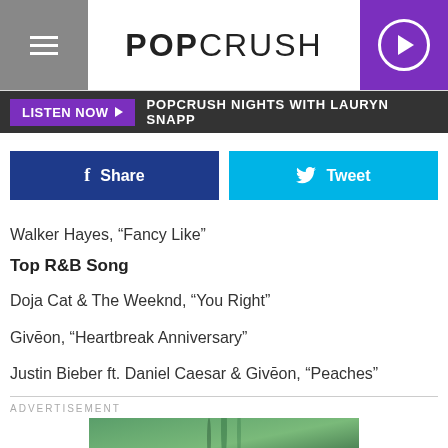POPCRUSH
LISTEN NOW ▶  POPCRUSH NIGHTS WITH LAURYN SNAPP
Share  Tweet
Walker Hayes, “Fancy Like”
Top R&B Song
Doja Cat & The Weeknd, “You Right”
Givēon, “Heartbreak Anniversary”
Justin Bieber ft. Daniel Caesar & Givēon, “Peaches”
ADVERTISEMENT
[Figure (photo): Advertisement image showing green plant/insect close-up]